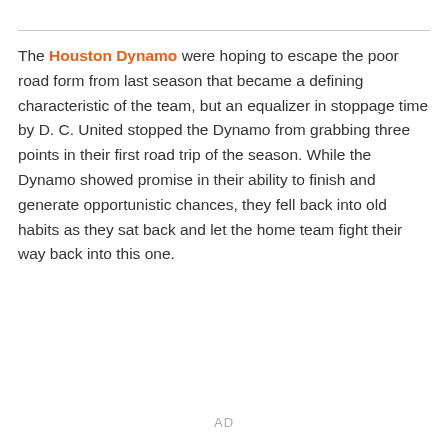The Houston Dynamo were hoping to escape the poor road form from last season that became a defining characteristic of the team, but an equalizer in stoppage time by D. C. United stopped the Dynamo from grabbing three points in their first road trip of the season. While the Dynamo showed promise in their ability to finish and generate opportunistic chances, they fell back into old habits as they sat back and let the home team fight their way back into this one.
AD